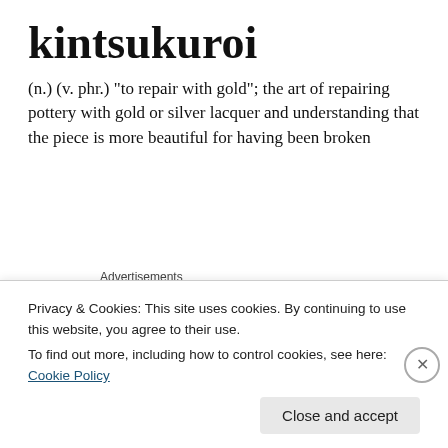kintsukuroi
(n.) (v. phr.) "to repair with gold"; the art of repairing pottery with gold or silver lacquer and understanding that the piece is more beautiful for having been broken
[Figure (infographic): Day One journaling app advertisement banner with blue background, app icons, and text 'The only journaling app you'll ever need.']
Privacy & Cookies: This site uses cookies. By continuing to use this website, you agree to their use.
To find out more, including how to control cookies, see here: Cookie Policy
Close and accept